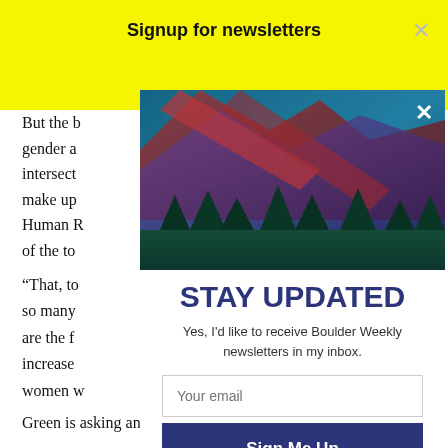Signup for newsletters
But the b... why gender a... intersect... omen make up... rom the Human R... percent of the to...
[Figure (photo): Colorful mountain landscape photo with red and blue hues, used as modal header image with an X close button]
STAY UPDATED
Yes, I'd like to receive Boulder Weekly newsletters in my inbox.
"That, to... rt, that so many... d. "What are the f... ir race increase... s White women w...
Green is asking another question this year: How, when you